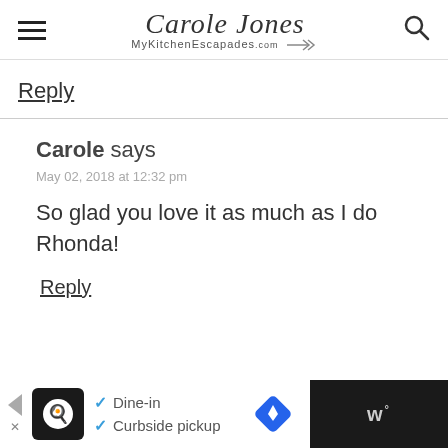Carole Jones MyKitchenEscapades.com
Reply
Carole says
May 02, 2018 at 12:32 pm
So glad you love it as much as I do Rhonda!
Reply
[Figure (infographic): Advertisement banner with restaurant info: Dine-in, Curbside pickup]